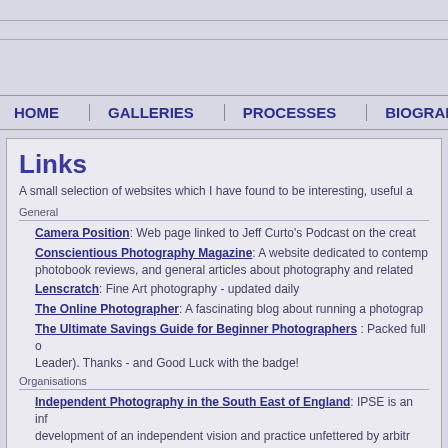HOME | GALLERIES | PROCESSES | BIOGRAPHY
Links
A small selection of websites which I have found to be interesting, useful a
General
Camera Position: Web page linked to Jeff Curto's Podcast on the creat
Conscientious Photography Magazine: A website dedicated to contemp photobook reviews, and general articles about photography and related
Lenscratch: Fine Art photography - updated daily
The Online Photographer: A fascinating blog about running a photograp
The Ultimate Savings Guide for Beginner Photographers : Packed full c Leader). Thanks - and Good Luck with the badge!
Organisations
Independent Photography in the South East of England: IPSE is an inf development of an independent vision and practice unfettered by arbitr
London Independent Photography : LIP was the original Independent p
Alt-Photo Methods
Alt-Photo Mailing List: The premier list for everything (alt). This list